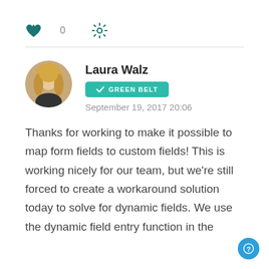[Figure (infographic): Heart icon with count '0' and gear/settings icon in teal color]
Laura Walz
[Figure (infographic): Green Belt badge with checkmark]
September 19, 2017 20:06
Thanks for working to make it possible to map form fields to custom fields! This is working nicely for our team, but we're still forced to create a workaround solution today to solve for dynamic fields. We use the dynamic field entry function in the